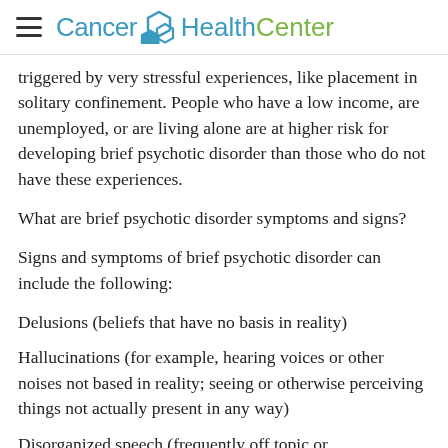Cancer HealthCenter
triggered by very stressful experiences, like placement in solitary confinement. People who have a low income, are unemployed, or are living alone are at higher risk for developing brief psychotic disorder than those who do not have these experiences.
What are brief psychotic disorder symptoms and signs?
Signs and symptoms of brief psychotic disorder can include the following:
Delusions (beliefs that have no basis in reality)
Hallucinations (for example, hearing voices or other noises not based in reality; seeing or otherwise perceiving things not actually present in any way)
Disorganized speech (frequently off topic or